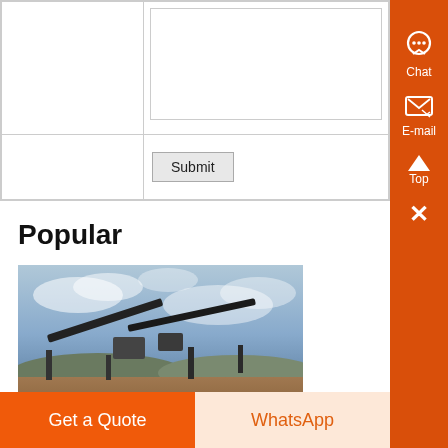|  |  |
|  | Submit |
Popular
[Figure (photo): Industrial machinery/conveyor equipment photographed outdoors against a cloudy sky, with dirt ground visible.]
molybdenum concentrate powder bulk bag packing machine ,
cement, wall putty, asphalte powder, sand, dry mortar, lime